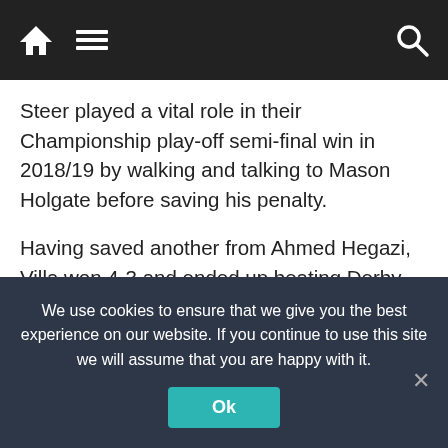Navigation bar with home, menu, and search icons
Steer played a vital role in their Championship play-off semi-final win in 2018/19 by walking and talking to Mason Holgate before saving his penalty.
Having saved another from Ahmed Hegazi, Villa won 4-3 and ended up beating Derby County in the final to reach the Premier League.
Tim Krul
Premier League veteran Tim Krul was named in the Netherlands squad for the 2014 World Cup having
We use cookies to ensure that we give you the best experience on our website. If you continue to use this site we will assume that you are happy with it.